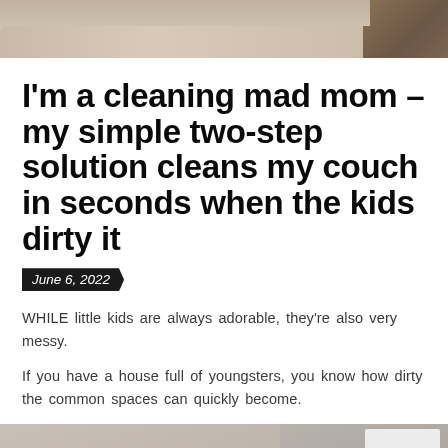[Figure (photo): Top portion of a beige/tan couch with cushions, cropped at the top of the page]
I'm a cleaning mad mom – my simple two-step solution cleans my couch in seconds when the kids dirty it
June 6, 2022
WHILE little kids are always adorable, they're also very messy.
If you have a house full of youngsters, you know how dirty the common spaces can quickly become.
[Figure (photo): Bottom photo showing a partial view of cleaning a couch or similar upholstered furniture, cropped at bottom of page]